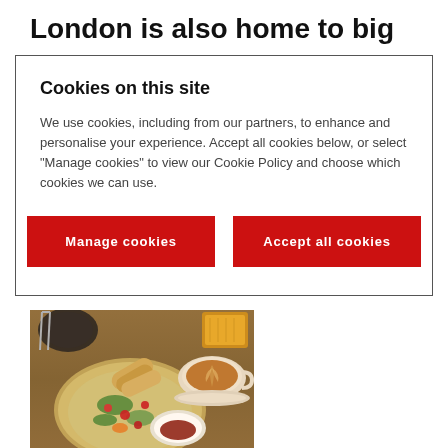London is also home to big dreams and endless job opportunities meaning most students choose to stay
[Figure (other): Cookie consent overlay dialog with title 'Cookies on this site', body text about cookie usage, and two red buttons: 'Manage cookies' and 'Accept all cookies']
[Figure (photo): Overhead photo of a food spread on a wooden table: a bowl of grain salad with tomatoes and herbs with bread rolls, a small white bowl of red spice, a cup of latte with latte art, and what appears to be a slice of cake or cornbread in the background with cutlery.]